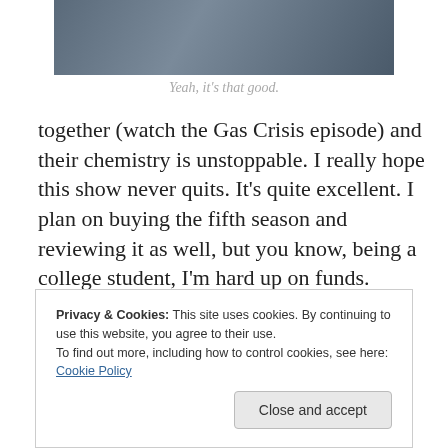[Figure (photo): A photo of two people sitting outdoors, partial view showing legs and casual clothing, in an outdoor garden or patio setting.]
Yeah, it's that good.
together (watch the Gas Crisis episode) and their chemistry is unstoppable. I really hope this show never quits. It's quite excellent. I plan on buying the fifth season and reviewing it as well, but you know, being a college student, I'm hard up on funds. (Someone buy it for me?) I haven't really caught any of the sixth season, but it's on my to do. I don't really have a lot else to say, it's just something you have to experience for yourself. 10 out of
Privacy & Cookies: This site uses cookies. By continuing to use this website, you agree to their use.
To find out more, including how to control cookies, see here: Cookie Policy